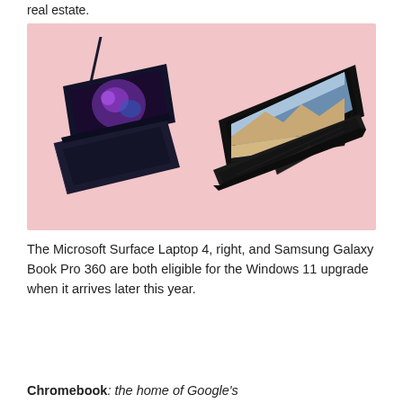real estate.
[Figure (photo): Two dark laptops on a pink background. Left: Samsung Galaxy Book Pro 360 in tablet/flat mode with stylus. Right: Microsoft Surface Laptop 4 open showing a landscape wallpaper.]
The Microsoft Surface Laptop 4, right, and Samsung Galaxy Book Pro 360 are both eligible for the Windows 11 upgrade when it arrives later this year.
Chromebook: the home of Google's...